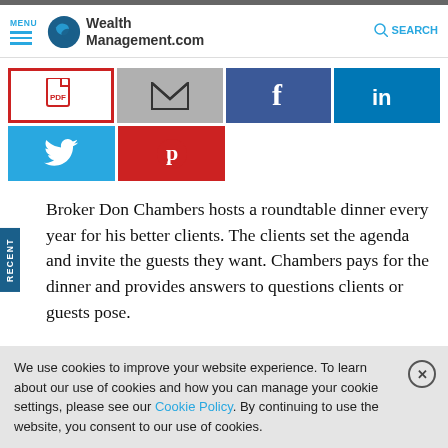MENU | WealthManagement.com | SEARCH
[Figure (screenshot): Social share buttons: PDF (red border), Email (gray), Facebook (blue), LinkedIn (blue), Twitter (blue), Pinterest (red)]
Broker Don Chambers hosts a roundtable dinner every year for his better clients. The clients set the agenda and invite the guests they want. Chambers pays for the dinner and provides answers to questions clients or guests pose.
We use cookies to improve your website experience. To learn about our use of cookies and how you can manage your cookie settings, please see our Cookie Policy. By continuing to use the website, you consent to our use of cookies.